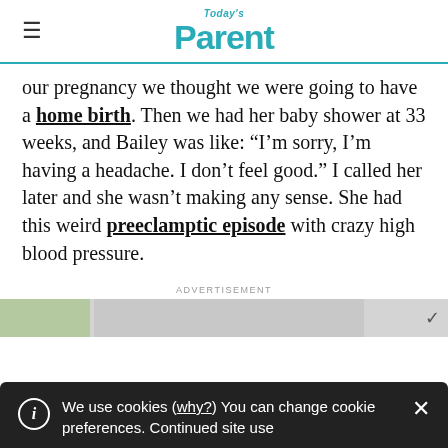Today's Parent
our pregnancy we thought we were going to have a home birth. Then we had her baby shower at 33 weeks, and Bailey was like: “I’m sorry, I’m having a headache. I don’t feel good.” I called her later and she wasn’t making any sense. She had this weird preeclamptic episode with crazy high blood pressure.
ADVERTISEMENT
We use cookies (why?) You can change cookie preferences. Continued site use